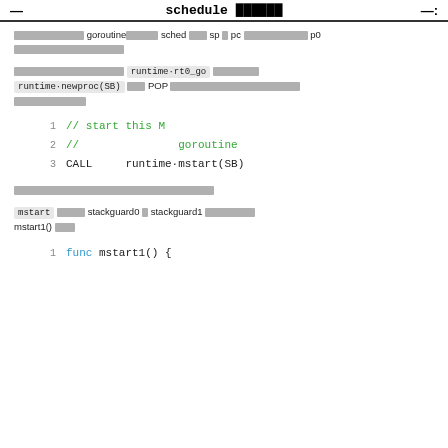schedule xxxxxxx
xxxxxxxxxx goroutinexxxxx sched xxx sp x pc xxxxxxxxxxxx p0 xxxxxxxxxxxxxxxx
xxxxxxxxxxxxxxxx runtime·rt0_go xxxxxxxx runtime·newproc(SB) xxxx POP xxxxxxxxxxxxxxxxxxxxxxxxxx xxxxxxxxxxx
[Figure (screenshot): Code block showing 3 lines: '1 // start this M', '2 //              goroutine', '3 CALL    runtime·mstart(SB)']
xxxxxxxxxxxxxxxxxxxxxxxxxxxxxxx
mstart xxxxx stackguard0 x stackguard1 xxxxxxxxxx mstart1() xxx
[Figure (screenshot): Code block starting with '1 func mstart1() {']